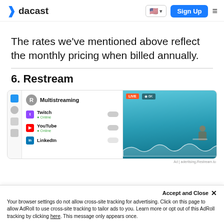dacast | Sign Up
The rates we've mentioned above reflect the monthly pricing when billed annually.
6. Restream
[Figure (screenshot): Screenshot of Restream multistreaming dashboard showing Twitch (Online), YouTube (Online), and LinkedIn platform options with toggle switches, alongside a live surfing video preview with wave audio waveform.]
Accept and Close ✕
Your browser settings do not allow cross-site tracking for advertising. Click on this page to allow AdRoll to use cross-site tracking to tailor ads to you. Learn more or opt out of this AdRoll tracking by clicking here. This message only appears once.